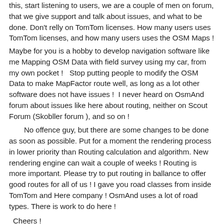this, start listening to users, we are a couple of men on forum, that we give support and talk about issues, and what to be done. Don't relly on TomTom licenses. How many users uses TomTom licenses, and how many users uses the OSM Maps ! Maybe for you is a hobby to develop navigation software like me Mapping OSM Data with field survey using my car, from my own pocket !   Stop putting people to modify the OSM Data to make MapFactor route well, as long as a lot other software does not have issues !  I never heard on OsmAnd forum about issues like here about routing, neither on Scout Forum (Skobller forum ), and so on !
No offence guy, but there are some changes to be done as soon as possible. Put for a moment the rendering process in lower priority than Routing calculation and algorithm. New rendering engine can wait a couple of weeks ! Routing is more important. Please try to put routing in ballance to offer good routes for all of us ! I gave you road classes from inside TomTom and Here company ! OsmAnd uses a lot of road types. There is work to do here !
Cheers !
hvdwolf  June 2015
@Tomas (w.r.t. post